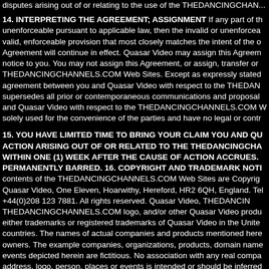disputes arising out of or relating to the use of the THEDANCINGCHAN...
14. INTERPRETING THE AGREEMENT; ASSIGNMENT If any part of this agreement is held invalid or unenforceable pursuant to applicable law, then the invalid or unenforceable provision will be deemed superseded by a valid, enforceable provision that most closely matches the intent of the original provision and the remainder of the Agreement will continue in effect. Quasar Video may assign this Agreement, or any part of it, without restrictions or notice to you. You may not assign this Agreement, or assign, transfer or sublicense your rights, if any, in the THEDANCINGCHANNELS.COM Web Sites. Except as expressly stated herein, this Agreement constitutes the entire agreement between you and Quasar Video with respect to the THEDANCINGCHANNELS.COM Web Sites and it supersedes all prior or contemporaneous communications and proposals, whether electronic, oral or written, between you and Quasar Video with respect to the THEDANCINGCHANNELS.COM Web Sites. The section titles are solely used for the convenience of the parties and have no legal or contractual significance.
15. YOU HAVE LIMITED TIME TO BRING YOUR CLAIM YOU AND QUASAR VIDEO AGREE THAT ANY CAUSE OF ACTION ARISING OUT OF OR RELATED TO THE THEDANCINGCHANNELS.COM WEB SITES MUST COMMENCE WITHIN ONE (1) WEEK AFTER THE CAUSE OF ACTION ACCRUES. OTHERWISE, SUCH CAUSE OF ACTION IS PERMANENTLY BARRED. 16. COPYRIGHT AND TRADEMARK NOTICES: The entire contents of the THEDANCINGCHANNELS.COM Web Sites are Copyright 2004, Quasar Video, One Eleven, Hoarwithy, Hereford, HR2 6QH, England. Tel +44(0)208 123 7881. All rights reserved. Quasar Video, THEDANCINGCHANNELS.COM, THEDANCINGCHANNELS.COM logo, and/or other Quasar Video products referenced herein may be either trademarks or registered trademarks of Quasar Video in the United States and/or other countries. The names of actual companies and products mentioned herein may be the trademarks of their respective owners. The example companies, organizations, products, domain names, email addresses, logos, people, places and events depicted herein are fictitious. No association with any real company, organization, product, domain name, email address, logo, person, places or events is intended or should be inferred. All rights reserved. Certain software used in certain THEDANCINGCHANNELS.COM pages is the copyrighted work of the Even Technologies Inc. Copyright 1997 - 2005. and Bestfreeware.net. All rights reserved.